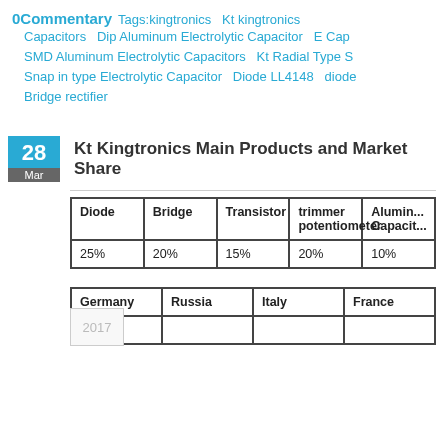0Commentary   Tags:kingtronics  Kt kingtronics  Capacitors  Dip Aluminum Electrolytic Capacitor  E Cap  SMD Aluminum Electrolytic Capacitors  Kt Radial Type S  Snap in type Electrolytic Capacitor  Diode LL4148  diode  Bridge rectifier
Kt Kingtronics Main Products and Market Share
| Diode | Bridge | Transistor | trimmer potentiometer | Alumu... Capaci... |
| --- | --- | --- | --- | --- |
| 25% | 20% | 15% | 20% | 10% |
| Germany | Russia | Italy | France |
| --- | --- | --- | --- |
|  |